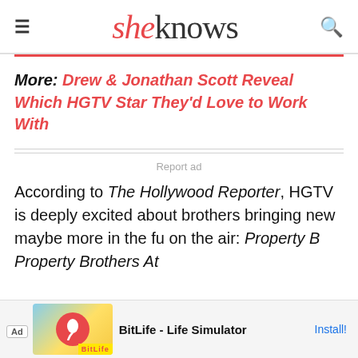sheknows
More: Drew & Jonathan Scott Reveal Which HGTV Star They'd Love to Work With
Report ad
According to The Hollywood Reporter, HGTV is deeply excited about brothers bringing new shows, maybe more in the future, currently on the air: Property Brothers, Property Brothers At Home...
[Figure (advertisement): BitLife - Life Simulator mobile game advertisement banner with Install button]